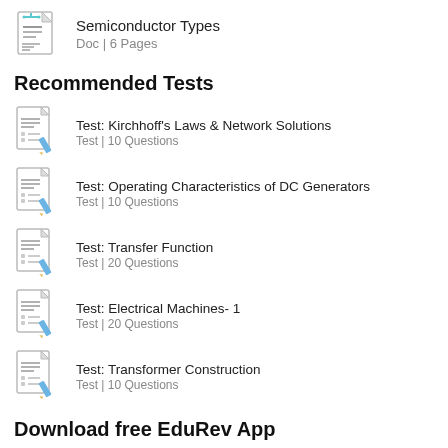[Figure (illustration): Document icon for Semiconductor Types]
Semiconductor Types
Doc | 6 Pages
Recommended Tests
Test: Kirchhoff's Laws & Network Solutions
Test | 10 Questions
Test: Operating Characteristics of DC Generators
Test | 10 Questions
Test: Transfer Function
Test | 20 Questions
Test: Electrical Machines- 1
Test | 20 Questions
Test: Transformer Construction
Test | 10 Questions
Download free EduRev App